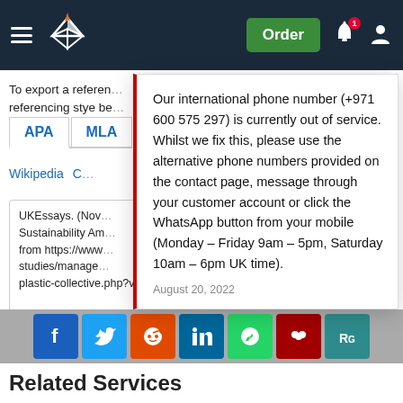UKEssays navigation with Order button, notification bell, and user account icon
To export a reference to this article please select a referencing stye be
APA  MLA
Wikipedia  C
UKEssays. (Nov Sustainability Am from https://www studies/manager plastic-collective.php?vref=1
Copy to Clipboard
Our international phone number (+971 600 575 297) is currently out of service. Whilst we fix this, please use the alternative phone numbers provided on the contact page, message through your customer account or click the WhatsApp button from your mobile (Monday – Friday 9am – 5pm, Saturday 10am – 6pm UK time).
August 20, 2022
Related Services